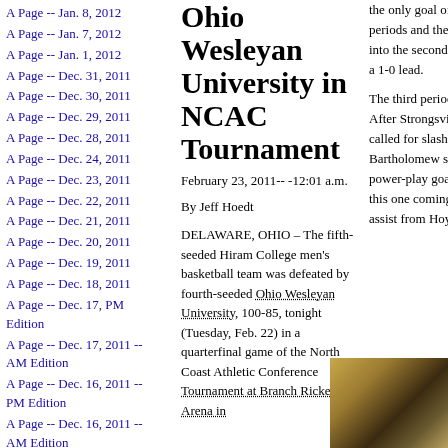A Page -- Jan. 8, 2012
A Page -- Jan. 7, 2012
A Page -- Jan. 1, 2012
A Page -- Dec. 31, 2011
A Page -- Dec. 30, 2011
A Page -- Dec. 29, 2011
A Page -- Dec. 28, 2011
A Page -- Dec. 24, 2011
A Page -- Dec. 23, 2011
A Page -- Dec. 22, 2011
A Page -- Dec. 21, 2011
A Page -- Dec. 20, 2011
A Page -- Dec. 19, 2011
A Page -- Dec. 18, 2011
A Page -- Dec. 17, PM Edition
A Page -- Dec. 17, 2011 -- AM Edition
A Page -- Dec. 16, 2011 -- PM Edition
A Page -- Dec. 16, 2011 -- AM Edition
A Page -- Dec. 15, 2011 -- PM Edition
Ohio Wesleyan University in NCAC Tournament
February 23, 2011-- -12:01 a.m.
By Jeff Hoedt
DELAWARE, OHIO – The fifth-seeded Hiram College men's basketball team was defeated by fourth-seeded Ohio Wesleyan University, 100-85, tonight (Tuesday, Feb. 22) in a quarterfinal game of the North Coast Athletic Conference Tournament at Branch Rickey Arena in
the only goal of the first two periods and the Eagles skated off into the second intermission with a 1-0 lead. The third period was all St. Ed. After Strongsville (17-10-2) was called for slashing, Mick Bartholomew scored the first power-play goal of the evening, this one coming at 2:45 with an assist from Hoyt.
[Figure (photo): Photo of interior scene with dark and golden tones, appears to be an arena or gymnasium]